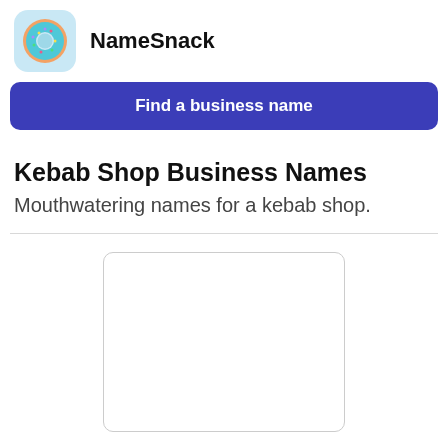[Figure (logo): NameSnack app logo: donut icon with blue/teal icing on a light blue rounded square background]
NameSnack
Find a business name
Kebab Shop Business Names
Mouthwatering names for a kebab shop.
[Figure (other): Empty white rectangular placeholder box with light gray border and rounded corners]